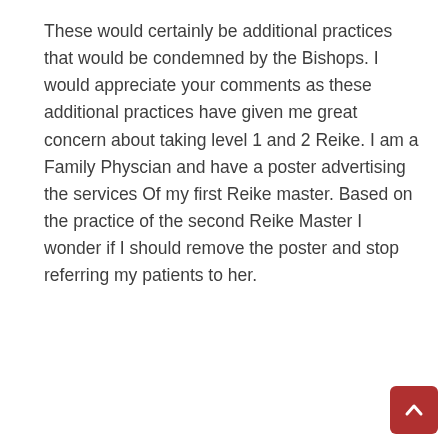These would certainly be additional practices that would be condemned by the Bishops. I would appreciate your comments as these additional practices have given me great concern about taking level 1 and 2 Reike. I am a Family Physcian and have a poster advertising the services Of my first Reike master. Based on the practice of the second Reike Master I wonder if I should remove the poster and stop referring my patients to her.